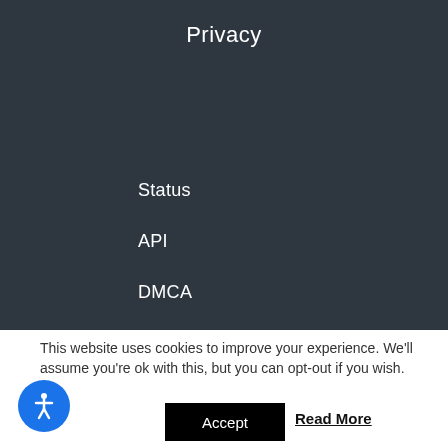Privacy
Status
API
DMCA
GDPR
This website uses cookies to improve your experience. We'll assume you're ok with this, but you can opt-out if you wish.
Accept
Read More